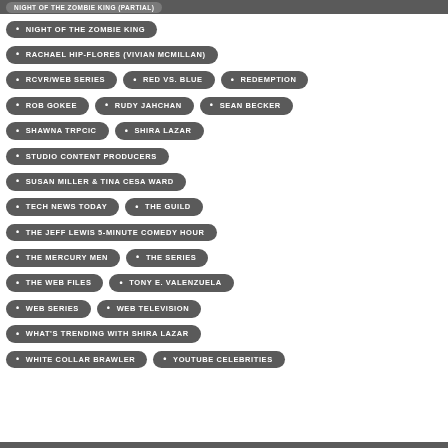NIGHT OF THE ZOMBIE KING
RACHAEL HIP-FLORES (VIVIAN MCMILLAN)
RCVR/WEB SERIES
RED VS. BLUE
REDEMPTION
ROB GOKEE
RUDY JAHCHAN
SEAN BECKER
SHAWNA TRPCIC
SHIRA LAZAR
STUDIO CONTENT PRODUCERS
SUSAN MILLER & TINA CESA WARD
TECH NEWS TODAY
THE GUILD
THE JEFF LEWIS 5-MINUTE COMEDY HOUR
THE MERCURY MEN
THE SERIES
THE WEB FILES
TONY E. VALENZUELA
WEB SERIES
WEB TELEVISION
WHAT'S TRENDING WITH SHIRA LAZAR
WHITE COLLAR BRAWLER
YOUTUBE CELEBRITIES